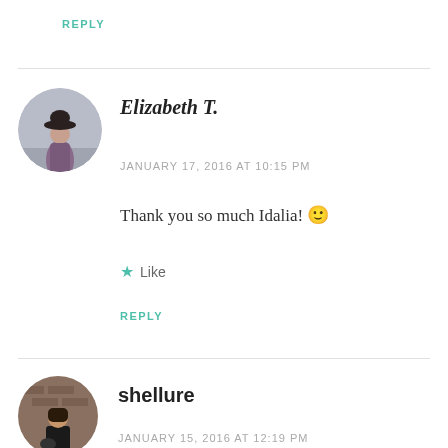REPLY
[Figure (photo): Circular avatar photo of Elizabeth T., a woman in a wide-brim hat and purple dress outdoors]
Elizabeth T.
JANUARY 17, 2016 AT 10:15 PM
Thank you so much Idalia! 🙂
★ Like
REPLY
[Figure (photo): Circular avatar photo of shellure, a woman standing against a brick wall]
shellure
JANUARY 15, 2016 AT 12:19 PM